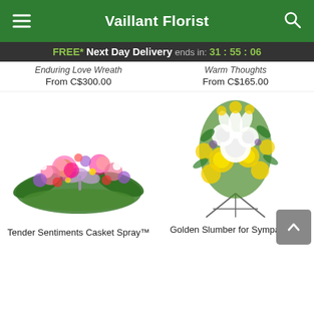Vaillant Florist
FREE* Next Day Delivery ends in: 31:55:06
Enduring Love Wreath
From C$300.00
Warm Thoughts
From C$165.00
[Figure (photo): Tender Sentiments Casket Spray - a lush casket spray of pink, purple, and red flowers with greenery and a lavender ribbon]
Tender Sentiments Casket Spray™
[Figure (photo): Golden Slumber for Sympathy - a tall standing spray of yellow and white flowers including chrysanthemums and lilies on a metal easel stand]
Golden Slumber for Sympathy™